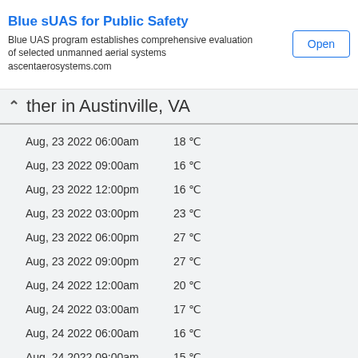[Figure (other): Advertisement banner for Blue sUAS for Public Safety by ascentaerosystems.com with an Open button]
ther in Austinville, VA
Aug, 23 2022 06:00am   18 °C
Aug, 23 2022 09:00am   16 °C
Aug, 23 2022 12:00pm   16 °C
Aug, 23 2022 03:00pm   23 °C
Aug, 23 2022 06:00pm   27 °C
Aug, 23 2022 09:00pm   27 °C
Aug, 24 2022 12:00am   20 °C
Aug, 24 2022 03:00am   17 °C
Aug, 24 2022 06:00am   16 °C
Aug, 24 2022 09:00am   15 °C
Aug, 24 2022 12:00pm   17 °C
Aug, 24 2022 03:00pm   25 °C
Aug, 24 2022 06:00pm   29 °C